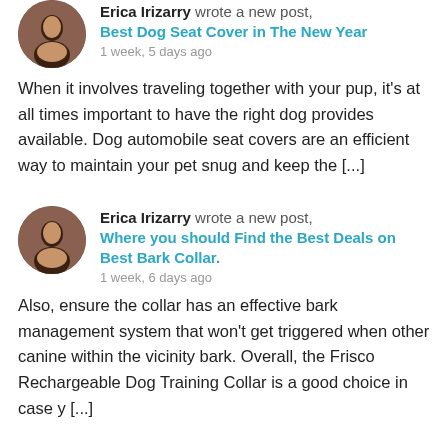Erica Irizarry wrote a new post, Best Dog Seat Cover in The New Year
1 week, 5 days ago
When it involves traveling together with your pup, it's at all times important to have the right dog provides available. Dog automobile seat covers are an efficient way to maintain your pet snug and keep the [...]
Erica Irizarry wrote a new post, Where you should Find the Best Deals on Best Bark Collar.
1 week, 6 days ago
Also, ensure the collar has an effective bark management system that won't get triggered when other canine within the vicinity bark. Overall, the Frisco Rechargeable Dog Training Collar is a good choice in case y [...]
Erica Irizarry wrote a new post, Strange Report